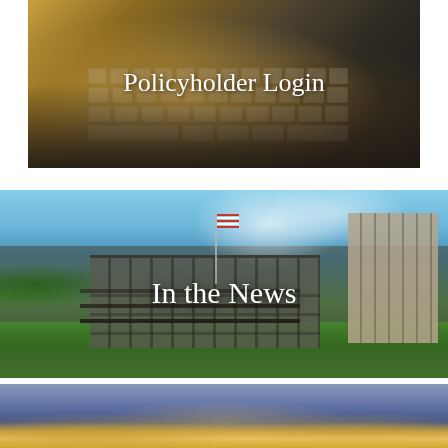[Figure (photo): Person typing on a laptop keyboard with warm golden lighting overlaid. White text reads 'Policyholder Login' in the center of the image.]
[Figure (photo): Exterior of an insurance company building with American flags visible. Green landscaping in foreground, blue sky with clouds above. White text reads 'In the News' in the center of the image.]
[Figure (photo): Partial view of another building or decorative element with blue and gold tones, partially visible at the bottom of the page.]